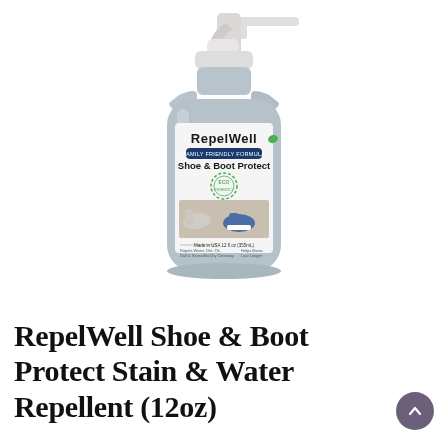[Figure (photo): A light blue/silver spray bottle of RepelWell Shoe & Boot Protect with a white trigger sprayer. The label reads 'RepelWell FAMILY FRIENDLY FORMULA Shoe & Boot Protect' with an ECO FRIENDLY badge and images of shoes/boots being sprayed. Made in USA 12 fl oz (355ml).]
RepelWell Shoe & Boot Protect Stain & Water Repellent (12oz)